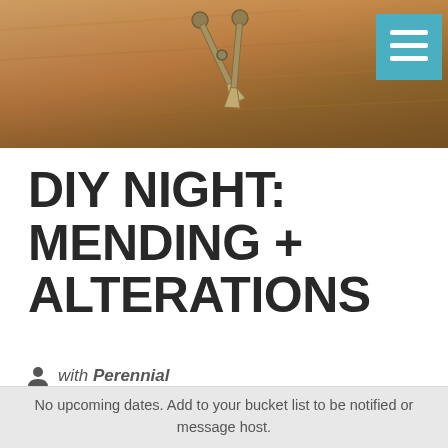[Figure (photo): Background photo of scissors on a wooden surface with warm brown tones, with a teal hamburger menu button overlay in top-right corner]
DIY NIGHT: MENDING + ALTERATIONS
with Perennial
No upcoming dates. Add to your bucket list to be notified or message host.
BRING IT BACK
Favorite